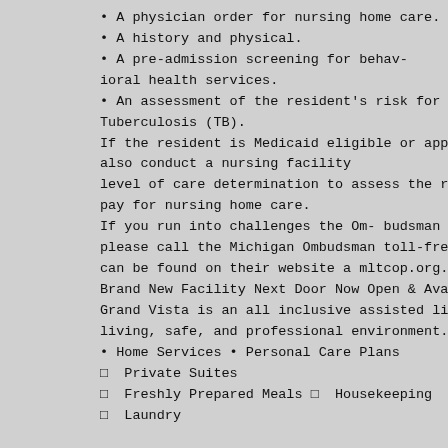A physician order for nursing home care.
A history and physical.
A pre-admission screening for behavioral health services.
An assessment of the resident's risk for Tuberculosis (TB).
If the resident is Medicaid eligible or appl- also conduct a nursing facility level of care determination to assess the re- pay for nursing home care.
If you run into challenges the Om- budsman m- please call the Michigan Ombudsman toll-free can be found on their website a mltcop.org.
Brand New Facility Next Door Now Open & Ava- Grand Vista is an all inclusive assisted li- living, safe, and professional environment.
Home Services • Personal Care Plans
Private Suites
Freshly Prepared Meals  Housekeeping
Laundry